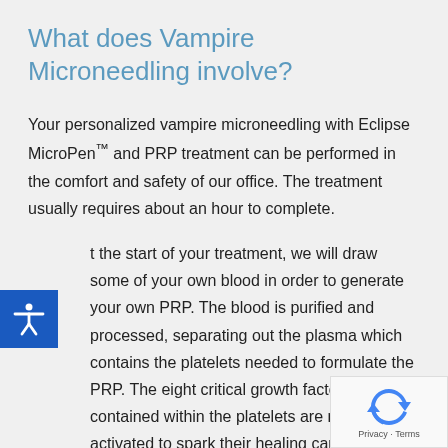What does Vampire Microneedling involve?
Your personalized vampire microneedling with Eclipse MicroPen™ and PRP treatment can be performed in the comfort and safety of our office. The treatment usually requires about an hour to complete.
At the start of your treatment, we will draw some of your own blood in order to generate your own PRP. The blood is purified and processed, separating out the plasma which contains the platelets needed to formulate the PRP. The eight critical growth factors contained within the platelets are medically activated to spark their healing capabilities.*
Next, we will apply to the treatment area a topical hyd gel that minimizes the potential for discomfort, as well as